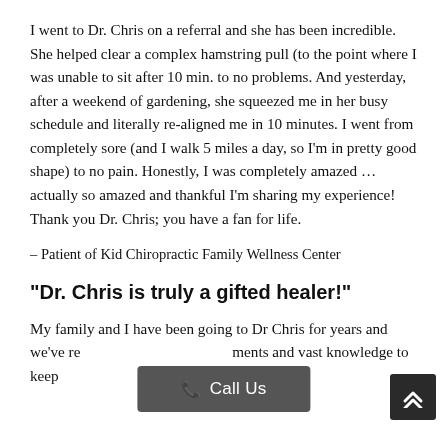I went to Dr. Chris on a referral and she has been incredible. She helped clear a complex hamstring pull (to the point where I was unable to sit after 10 min. to no problems. And yesterday, after a weekend of gardening, she squeezed me in her busy schedule and literally re-aligned me in 10 minutes. I went from completely sore (and I walk 5 miles a day, so I'm in pretty good shape) to no pain. Honestly, I was completely amazed … actually so amazed and thankful I'm sharing my experience! Thank you Dr. Chris; you have a fan for life.
– Patient of Kid Chiropractic Family Wellness Center
"Dr. Chris is truly a gifted healer!"
My family and I have been going to Dr Chris for years and we've re... ments and vast knowledge to keep... My daughter